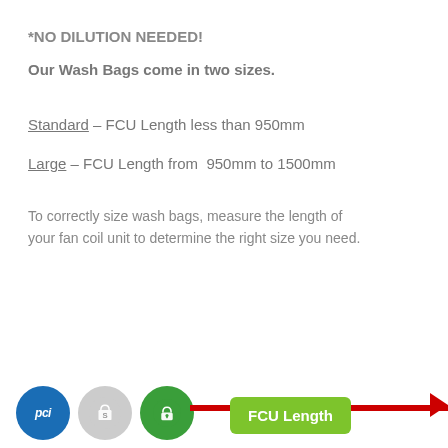*NO DILUTION NEEDED!
Our Wash Bags come in two sizes.
Standard - FCU Length less than 950mm
Large - FCU Length from 950mm to 1500mm
To correctly size wash bags, measure the length of your fan coil unit to determine the right size you need.
[Figure (infographic): Bottom bar with PCI, Shopify, and secure lock icons on the left, and a green 'FCU Length' button with a red arrow extending to the right indicating measurement direction.]